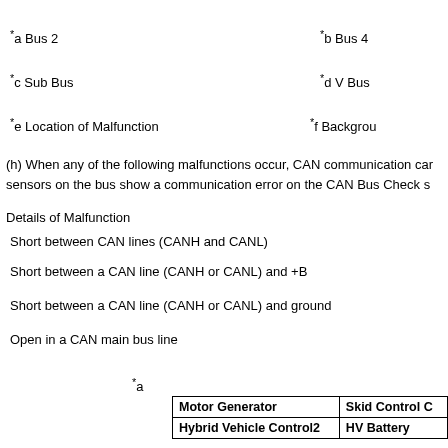*a  Bus 2
*b  Bus 4
*c  Sub Bus
*d  V Bus
*e  Location of Malfunction
*f  Background
(h) When any of the following malfunctions occur, CAN communication can sensors on the bus show a communication error on the CAN Bus Check s
Details of Malfunction
Short between CAN lines (CANH and CANL)
Short between a CAN line (CANH or CANL) and +B
Short between a CAN line (CANH or CANL) and ground
Open in a CAN main bus line
*a
| Motor Generator | Skid Control C |
| --- | --- |
| Hybrid Vehicle Control2 | HV Battery |